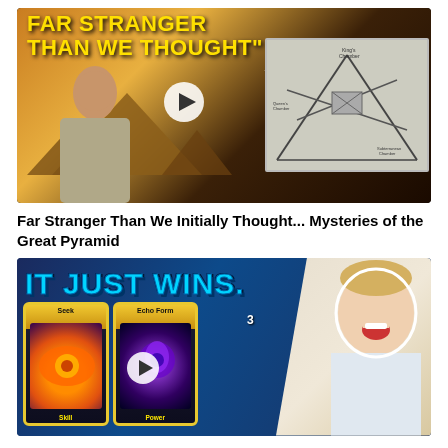[Figure (screenshot): Video thumbnail: 'FAR STRANGER THAN WE THOUGHT - THE ROAD TO DISCLOSURE' showing a man in front of Egyptian pyramids with an inset diagram of the Great Pyramid layout, and a white play button overlay]
Far Stranger Than We Initially Thought... Mysteries of the Great Pyramid
[Figure (screenshot): Video thumbnail: 'IT JUST WINS.' gaming video showing two game cards labeled 'Seek' (Skill) and 'Echo Form' (Power) with a play button, numbers 0 and 3, and a laughing man on the right side]